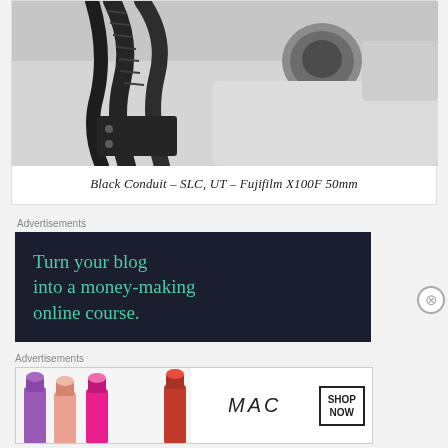[Figure (photo): Black and white close-up photograph of black conduit cables and industrial hardware on a white surface, taken in SLC, UT with a Fujifilm X100F 50mm lens.]
Black Conduit – SLC, UT – Fujifilm X100F 50mm
Advertisements
[Figure (infographic): Dark navy advertisement banner with teal text reading: Turn your blog into a money-making online course.]
Advertisements
[Figure (photo): MAC cosmetics advertisement showing colorful lipsticks on the left, MAC logo in the center, and a SHOP NOW box on the right.]